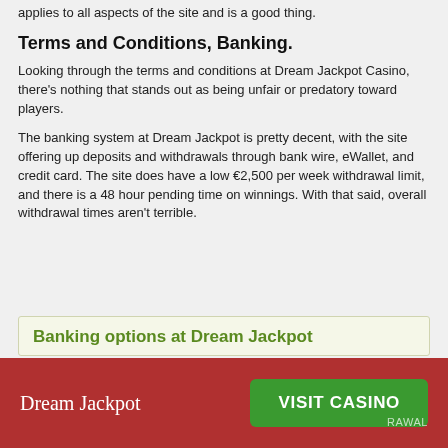applies to all aspects of the site and is a good thing.
Terms and Conditions, Banking.
Looking through the terms and conditions at Dream Jackpot Casino, there’s nothing that stands out as being unfair or predatory toward players.
The banking system at Dream Jackpot is pretty decent, with the site offering up deposits and withdrawals through bank wire, eWallet, and credit card. The site does have a low €2,500 per week withdrawal limit, and there is a 48 hour pending time on winnings. With that said, overall withdrawal times aren’t terrible.
Banking options at Dream Jackpot
Dream Jackpot
VISIT CASINO